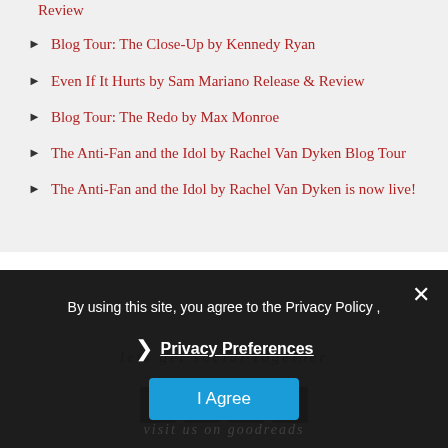Review
Blog Tour: The Close-Up by Kennedy Ryan
Even If It Hurts by Sam Mariano Release & Review
Blog Tour: The Redo by Max Monroe
The Anti-Fan and the Idol by Rachel Van Dyken Blog Tour
The Anti-Fan and the Idol by Rachel Van Dyken is now live!
lets get social together
[Figure (screenshot): Social media icons (Facebook, Twitter/X, Pinterest, Email) on dark grey boxes]
visit us on goodreads
By using this site, you agree to the Privacy Policy ,
Privacy Preferences
I Agree